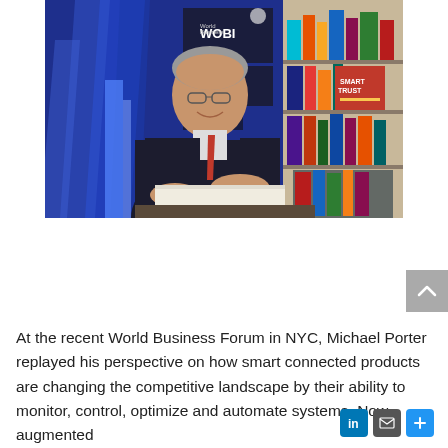[Figure (photo): Photo of Michael Porter at the World Business Forum (WOBI) in NYC, sitting at a table with an open book, smiling. Bookshelves with colorful books visible in background, including 'Smart Trust' books. Blue decorative backdrop with WOBI signage.]
At the recent World Business Forum in NYC, Michael Porter replayed his perspective on how smart connected products are changing the competitive landscape by their ability to monitor, control, optimize and automate systems. Now augmented